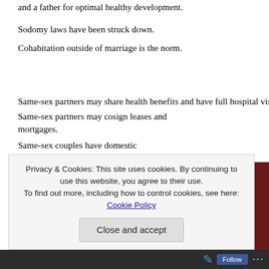and a father for optimal healthy development.
Sodomy laws have been struck down.
Cohabitation outside of marriage is the norm.
Same-sex partners may share health benefits and have full hospital visitation
Same-sex partners may cosign leases and mortgages.
Same-sex couples have domestic partnerships, quasi-marriage.
The list goes on and on. One by one the goods reserved to marriage have been given away.
[Figure (photo): Two female bride figurines (wedding cake toppers) against a dark red background]
Privacy & Cookies: This site uses cookies. By continuing to use this website, you agree to their use.
To find out more, including how to control cookies, see here: Cookie Policy
Close and accept